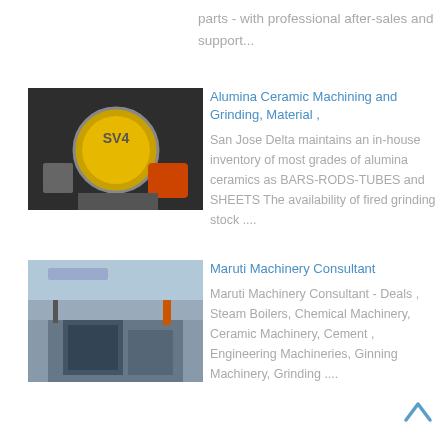parts - with professional after-sales and support...
[Figure (photo): Industrial grinding/machining equipment with SV4 branding label visible, orange and grey machinery components]
Alumina Ceramic Machining and Grinding, Material ,
San Jose Delta maintains an in-house inventory of most grades of alumina ceramics as BARS-RODS-TUBES and SHEETS The availability of fired grinding stock ....
[Figure (photo): Industrial factory building interior with large machinery, cranes visible, cement or chemical plant equipment]
Maruti Machinery Consultant
Maruti Machinery Consultant - Deals , Steam Boilers, Chemical Machinery, Ceramic Machinery, Cement , Engineering Machineries, Ginning Machinery, Grinding ....